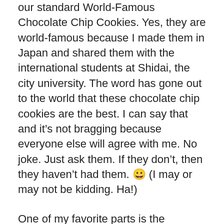our standard World-Famous Chocolate Chip Cookies. Yes, they are world-famous because I made them in Japan and shared them with the international students at Shidai, the city university. The word has gone out to the world that these chocolate chip cookies are the best. I can say that and it's not bragging because everyone else will agree with me. No joke. Just ask them. If they don't, then they haven't had them. 😀 (I may or may not be kidding. Ha!)
One of my favorite parts is the delivery. We were able to deliver a couple of boxes of goodies to friends and neighbors Saturday night. We even got some yummy, supa-hot, salsa in exchange.
On a funny note, my mom and I love to sing. My whole family does, but when we deliver goodies to people's' homes, we especially like to sing. We chose We Wish You